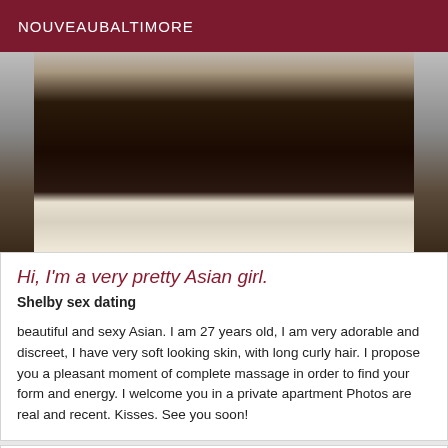NOUVEAUBALTIMORE
[Figure (photo): Photo of a woman with long dark curly hair wearing a white outfit, cropped view of torso]
Hi, I'm a very pretty Asian girl.
Shelby sex dating
beautiful and sexy Asian. I am 27 years old, I am very adorable and discreet, I have very soft looking skin, with long curly hair. I propose you a pleasant moment of complete massage in order to find your form and energy. I welcome you in a private apartment Photos are real and recent. Kisses. See you soon!